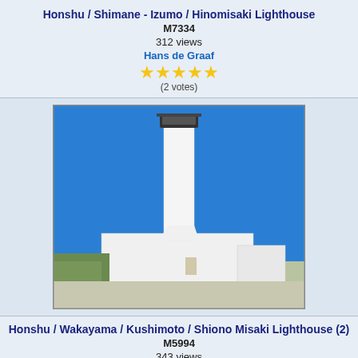Honshu / Shimane - Izumo / Hinomisaki Lighthouse
M7334
312 views
Hans de Graaf
★★★★★ (2 votes)
[Figure (photo): Hinomisaki Lighthouse - white lighthouse tower against blue sky with white building at base]
Honshu / Wakayama / Kushimoto / Shiono Misaki Lighthouse (2)
M5994
343 views
Hans de Graaf
★★★☆☆ (1 votes)
[Figure (photo): Shiono Misaki Lighthouse - white lighthouse on hillside with blue ocean and boat in background]